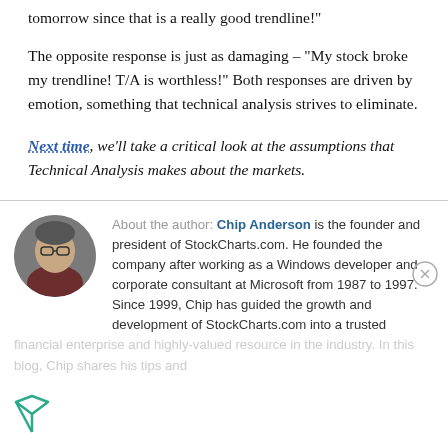tomorrow since that is a really good trendline!"
The opposite response is just as damaging – "My stock broke my trendline! T/A is worthless!" Both responses are driven by emotion, something that technical analysis strives to eliminate.
Next time, we'll take a critical look at the assumptions that Technical Analysis makes about the markets.
[Figure (photo): Circular avatar portrait photo of Chip Anderson, a man with glasses wearing a dark red/maroon top, against a light background]
About the author: Chip Anderson is the founder and president of StockCharts.com. He founded the company after working as a Windows developer and corporate consultant at Microsoft from 1987 to 1997. Since 1999, Chip has guided the growth and development of StockCharts.com into a trusted financial enterprise and highly-valued resource in the industry. In this blog, Chip shares his tips and